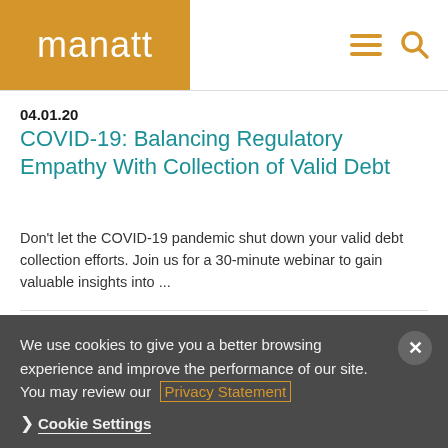[Figure (logo): Manatt law firm logo — white text 'manatt' on golden/amber background square]
04.01.20
COVID-19: Balancing Regulatory Empathy With Collection of Valid Debt
Don't let the COVID-19 pandemic shut down your valid debt collection efforts. Join us for a 30-minute webinar to gain valuable insights into ...
11.13.12
Manatt partners invited to speak at
We use cookies to give you a better browsing experience and improve the performance of our site. You may review our Privacy Statement
Cookie Settings